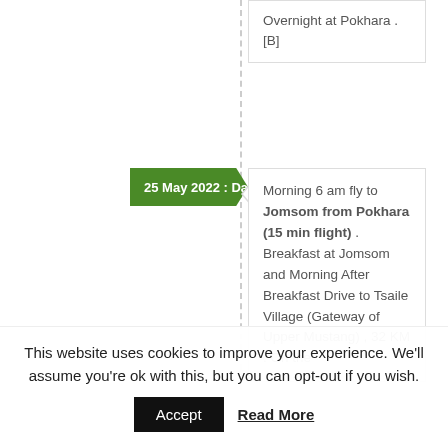Overnight at Pokhara . [B]
25 May 2022 : Day 3
Morning 6 am fly to Jomsom from Pokhara (15 min flight) . Breakfast at Jomsom and Morning After Breakfast Drive to Tsaile Village (Gateway of Upper Mustang) , 32 KM . On the
This website uses cookies to improve your experience. We'll assume you're ok with this, but you can opt-out if you wish.